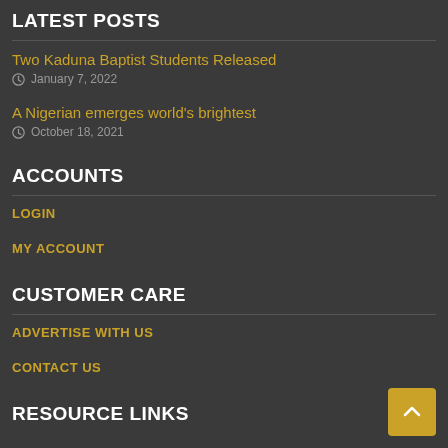LATEST POSTS
Two Kaduna Baptist Students Released
January 7, 2022
A Nigerian emerges world's brightest
October 18, 2021
ACCOUNTS
LOGIN
MY ACCOUNT
CUSTOMER CARE
ADVERTISE WITH US
CONTACT US
RESOURCE LINKS